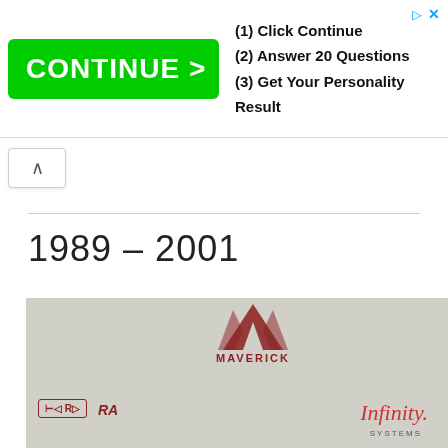[Figure (screenshot): Advertisement banner with green CONTINUE > button and steps: (1) Click Continue, (2) Answer 20 Questions, (3) Get Your Personality Result]
1989 – 2001
[Figure (photo): A couple posing in front of a Maverick Records backdrop. A woman with dark hair and a man in a dark suit. Reebok and Infinity Systems logos visible at bottom.]